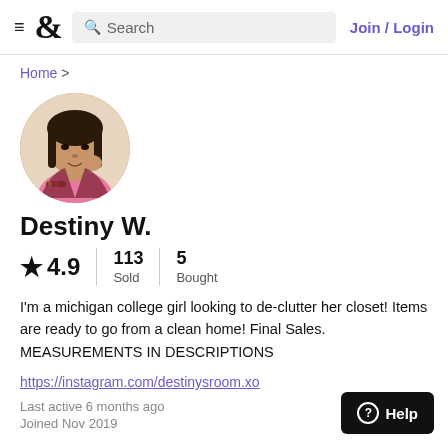≡  &  Search  Join / Login
Home >
[Figure (photo): Circular profile photo of a young woman with braided hair, wearing a pink top, leaning on her hand]
Destiny W.
★ 4.9  |  113 Sold  |  5 Bought
I'm a michigan college girl looking to de-clutter her closet! Items are ready to go from a clean home! Final Sales. MEASUREMENTS IN DESCRIPTIONS
https://instagram.com/destinysroom.xo
Last active 6 months ago
Joined Nov 2019